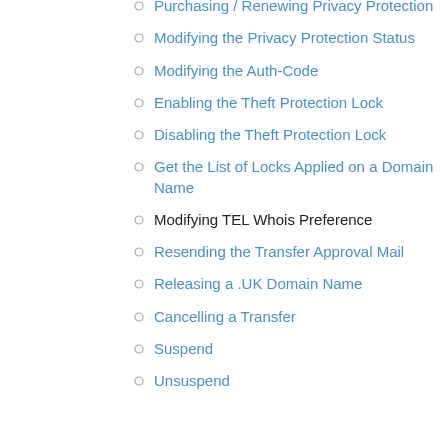Purchasing / Renewing Privacy Protection
Modifying the Privacy Protection Status
Modifying the Auth-Code
Enabling the Theft Protection Lock
Disabling the Theft Protection Lock
Get the List of Locks Applied on a Domain Name
Modifying TEL Whois Preference
Resending the Transfer Approval Mail
Releasing a .UK Domain Name
Cancelling a Transfer
Suspend
Unsuspend